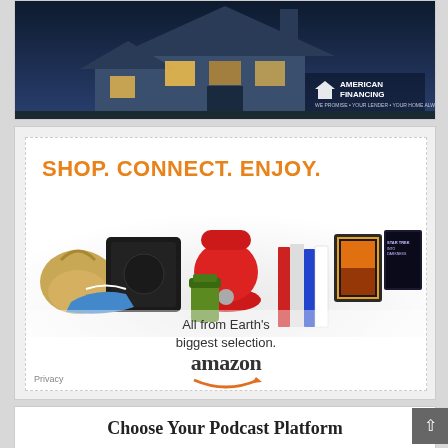[Figure (advertisement): American Financing advertisement showing a house at night with dark blue color scheme and American Financing logo]
[Figure (advertisement): Amazon advertisement: SHOP. CONNECT. ENJOY. All from Earth's biggest selection. Shows products including handbag, gaming console, mixer, tablet, shoes, books, movie. Amazon logo with smile underneath.]
Choose Your Podcast Platform